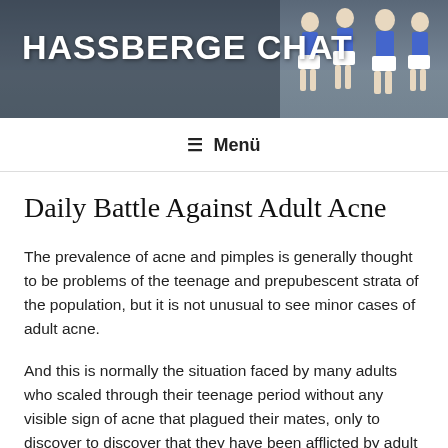[Figure (photo): Website header banner showing cheerleaders in blue and white uniforms on a street, with dark overlay]
HASSBERGE CHAT
≡ Menü
Daily Battle Against Adult Acne
The prevalence of acne and pimples is generally thought to be problems of the teenage and prepubescent strata of the population, but it is not unusual to see minor cases of adult acne.
And this is normally the situation faced by many adults who scaled through their teenage period without any visible sign of acne that plagued their mates, only to discover to discover that they have been afflicted by adult acne at a stage in they assumed they are free from